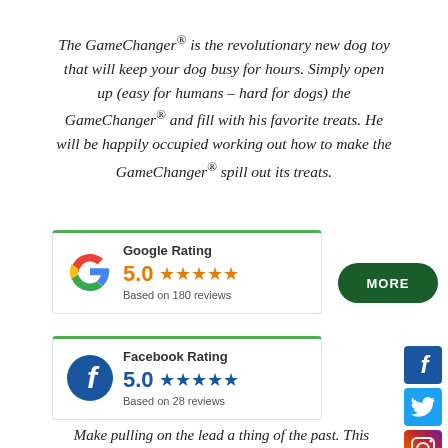The GameChanger® is the revolutionary new dog toy that will keep your dog busy for hours. Simply open up (easy for humans – hard for dogs) the GameChanger® and fill with his favorite treats. He will be happily occupied working out how to make the GameChanger® spill out its treats.
[Figure (infographic): Google Rating widget: Google G logo, 'Google Rating' heading, 5.0 orange stars rating, 'Based on 180 reviews' text. Green top border.]
[Figure (infographic): Dark green pill-shaped button with text 'MORE']
[Figure (infographic): Facebook Rating widget: Facebook F logo (blue circle), 'Facebook Rating' heading, 5.0 blue stars rating, 'Based on 28 reviews' text. Green top border.]
[Figure (infographic): Social media icons on the right side: Facebook (blue square), Twitter (light blue square), Instagram (gradient square)]
Make pulling on the lead a thing of the past. This